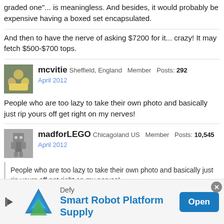graded one"... is meaningless. And besides, it would probably be expensive having a boxed set encapsulated.
And then to have the nerve of asking $7200 for it... crazy! It may fetch $500-$700 tops.
mcvitie Sheffield, England Member Posts: 292
April 2012
People who are too lazy to take their own photo and basically just rip yours off get right on my nerves!
madforLEGO Chicagoland US Member Posts: 10,545
April 2012
People who are too lazy to take their own photo and basically just rip yours off get right on my nerves!
Been there too, quite recently actually.. and Apparently eBay does nothing about...
[Figure (infographic): Advertisement banner: Defy brand, Smart Robot Platform Supply, with blue Open button and a robot/triangle logo]